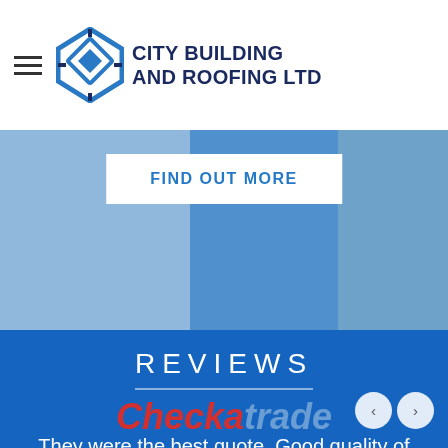[Figure (logo): City Building and Roofing Ltd logo — blue diamond geometric shape with hamburger menu icon to the left and company name text to the right]
[Figure (photo): Hero banner image with blue overlay and a 'Find Out More' button in white. Background shows workers/construction scene.]
REVIEWS
[Figure (logo): Checkatrade logo in italic — 'Checka' in red and 'trade' in light blue]
They were the best quote. Good quality of work carried out.
London